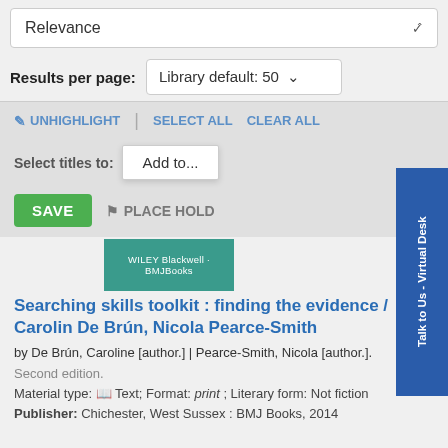Relevance
Results per page: Library default: 50
UNHIGHLIGHT | SELECT ALL  CLEAR ALL
Select titles to: Add to...
SAVE  PLACE HOLD
[Figure (screenshot): Book cover showing WILEY Blackwell BMJ Books branding in teal/green]
Searching skills toolkit : finding the evidence / Caroline De Brún, Nicola Pearce-Smith
by De Brún, Caroline [author.] | Pearce-Smith, Nicola [author.].
Second edition.
Material type: Text; Format: print ; Literary form: Not fiction
Publisher: Chichester, West Sussex : BMJ Books, 2014